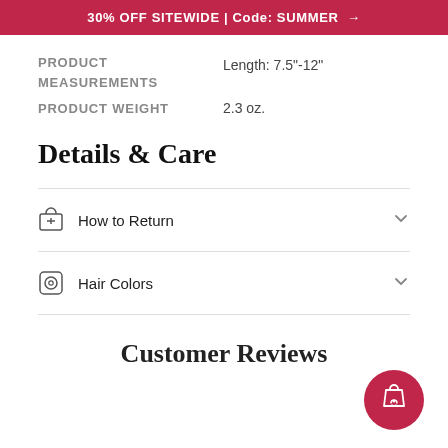30% OFF SITEWIDE | Code: SUMMER →
PRODUCT MEASUREMENTS    Length: 7.5"-12"
PRODUCT WEIGHT    2.3 oz.
Details & Care
How to Return
Hair Colors
Customer Reviews